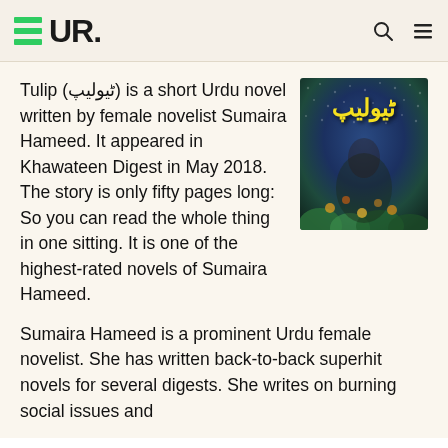EUR.
Tulip (ٹیولیپ) is a short Urdu novel written by female novelist Sumaira Hameed. It appeared in Khawateen Digest in May 2018. The story is only fifty pages long: So you can read the whole thing in one sitting. It is one of the highest-rated novels of Sumaira Hameed.
[Figure (photo): Book cover of Tulip (ٹیولیپ) Urdu novel showing Urdu title text in yellow/green on a dark blue-green background with a person and floral elements]
Sumaira Hameed is a prominent Urdu female novelist. She has written back-to-back superhit novels for several digests. She writes on burning social issues and